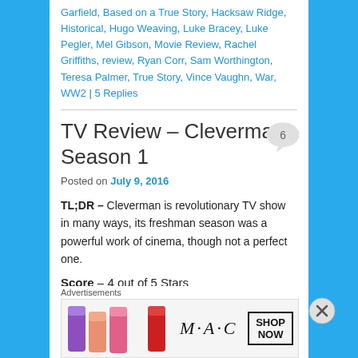Garfield, Based on a True Story, Hacksaw Ridge, Historical, Hugo Weaving, Luke Bracey, Luke Pegler, Mel Gibson, Movie Review, Rachel Griffiths, review, Ryan Corr, Sam Worthington, Teresa Palmer, True Story, Vince Vaughn, War, WW2 | 5 Replies
TV Review – Cleverman Season 1
Posted on July 9, 2016
TL;DR – Cleverman is revolutionary TV show in many ways, its freshman season was a powerful work of cinema, though not a perfect one.
Score – 4 out of 5 Stars
Advertisements
[Figure (photo): M·A·C cosmetics advertisement banner showing lipsticks and SHOP NOW button]